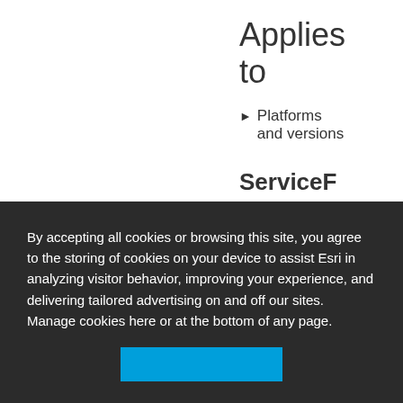Applies to
▶ Platforms and versions
ServiceFeatureTable(Item, Int64)
Initializes a new instance
By accepting all cookies or browsing this site, you agree to the storing of cookies on your device to assist Esri in analyzing visitor behavior, improving your experience, and delivering tailored advertising on and off our sites. Manage cookies here or at the bottom of any page.